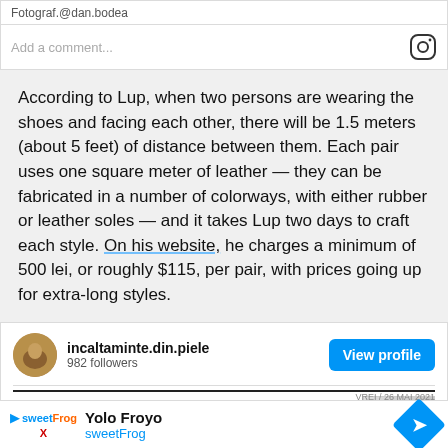Fotograf.@dan.bodea
[Figure (screenshot): Instagram comment input area with placeholder text 'Add a comment...' and Instagram camera icon on the right]
According to Lup, when two persons are wearing the shoes and facing each other, there will be 1.5 meters (about 5 feet) of distance between them. Each pair uses one square meter of leather — they can be fabricated in a number of colorways, with either rubber or leather soles — and it takes Lup two days to craft each style. On his website, he charges a minimum of 500 lei, or roughly $115, per pair, with prices going up for extra-long styles.
[Figure (screenshot): Instagram profile card for 'incaltaminte.din.piele' with 982 followers and a blue 'View profile' button, with a preview of a post about 'Ghete de distantare marimea 75']